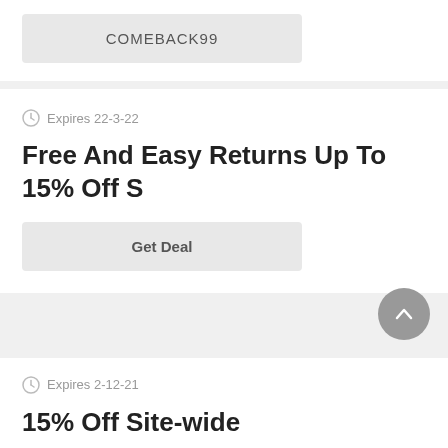COMEBACK99
Expires 22-3-22
Free And Easy Returns Up To 15% Off S
Get Deal
Expires 2-12-21
15% Off Site-wide